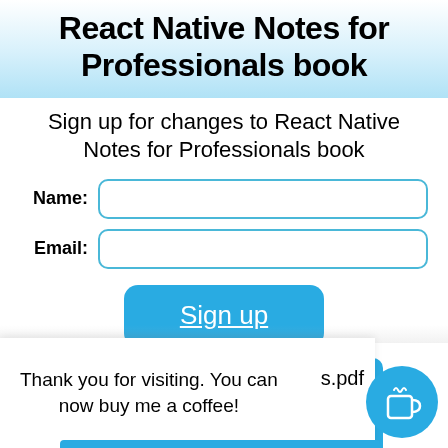React Native Notes for Professionals book
Sign up for changes to React Native Notes for Professionals book
[Figure (screenshot): Web form with Name and Email input fields and a Sign up button]
Thank you for visiting. You can now buy me a coffee!
s.pdf